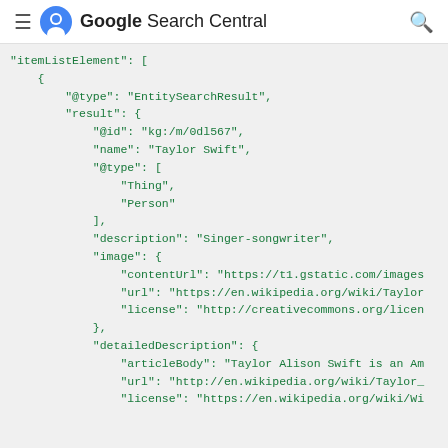Google Search Central
"itemListElement": [
    {
        "@type": "EntitySearchResult",
        "result": {
            "@id": "kg:/m/0dl567",
            "name": "Taylor Swift",
            "@type": [
                "Thing",
                "Person"
            ],
            "description": "Singer-songwriter",
            "image": {
                "contentUrl": "https://t1.gstatic.com/images
                "url": "https://en.wikipedia.org/wiki/Taylor
                "license": "http://creativecommons.org/licen
            },
            "detailedDescription": {
                "articleBody": "Taylor Alison Swift is an Am
                "url": "http://en.wikipedia.org/wiki/Taylor_
                "license": "https://en.wikipedia.org/wiki/Wi